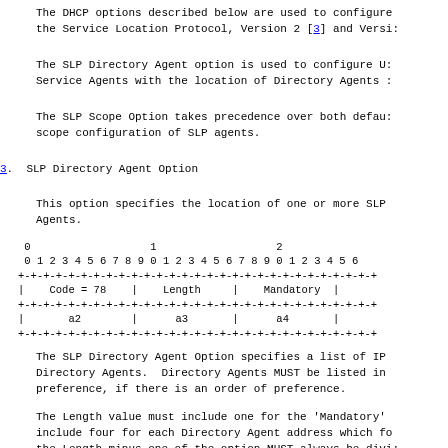The DHCP options described below are used to configure the Service Location Protocol, Version 2 [3] and Versi...
The SLP Directory Agent option is used to configure User Service Agents with the location of Directory Agents i...
The SLP Scope Option takes precedence over both default scope configuration of SLP agents.
3. SLP Directory Agent Option
This option specifies the location of one or more SLP Agents.
[Figure (schematic): Bit field diagram showing DHCP option format with Code=78, Length, Mandatory fields in first row and a2, a3, a4 in second row, with bit numbering 0-2... across top]
The SLP Directory Agent Option specifies a list of IP Directory Agents. Directory Agents MUST be listed in preference, if there is an order of preference.
The Length value must include one for the 'Mandatory' include four for each Directory Agent address which fo the Length minus one of the option MUST always be divi...